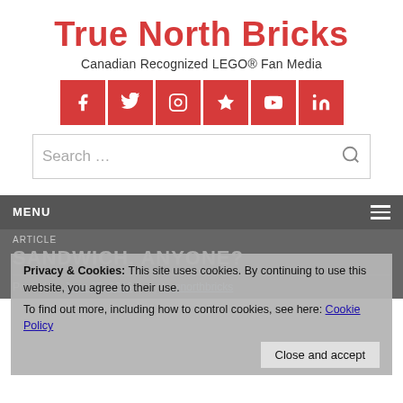True North Bricks
Canadian Recognized LEGO® Fan Media
[Figure (other): Row of 6 social media icon buttons (Facebook, Twitter, Instagram, Star/Favorites, YouTube, LinkedIn) in red square buttons]
Search …
MENU
Privacy & Cookies: This site uses cookies. By continuing to use this website, you agree to their use.
To find out more, including how to control cookies, see here: Cookie Policy
Close and accept
SANDWICH, ANYONE?
Posted on June 25, 2016 | by truenorthbricks